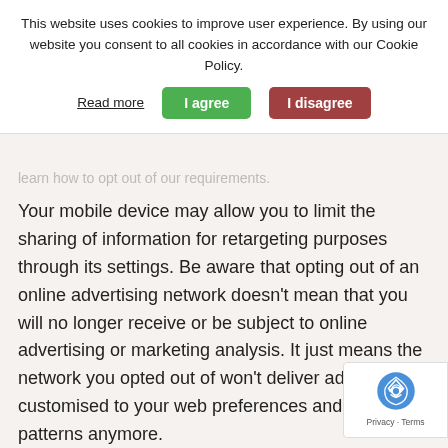This website uses cookies to improve user experience. By using our website you consent to all cookies in accordance with our Cookie Policy.
Read more | I agree | I disagree
learn how to opt out of our requirements.
Your mobile device may allow you to limit the sharing of information for retargeting purposes through its settings. Be aware that opting out of an online advertising network doesn't mean that you will no longer receive or be subject to online advertising or marketing analysis. It just means the network you opted out of won't deliver ads customised to your web preferences and browsing patterns anymore.
Analytics: In order to control the collection of data for analytical purposes through Google Analytics from certain browser types, you may want to visit Google Analytics Opt-out Browser Add-on (only for desktop).
If you have any questions, suggestions, or comments